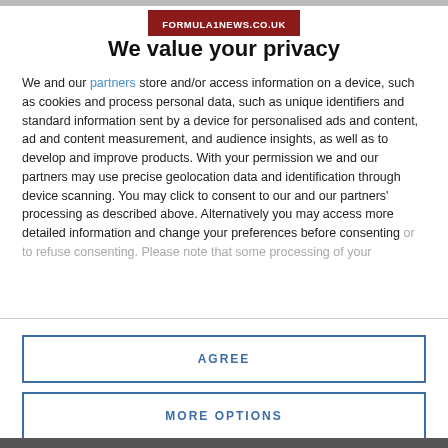[Figure (logo): Formula1News.co.uk logo — white text on dark red background]
We value your privacy
We and our partners store and/or access information on a device, such as cookies and process personal data, such as unique identifiers and standard information sent by a device for personalised ads and content, ad and content measurement, and audience insights, as well as to develop and improve products. With your permission we and our partners may use precise geolocation data and identification through device scanning. You may click to consent to our and our partners' processing as described above. Alternatively you may access more detailed information and change your preferences before consenting or to refuse consenting. Please note that some processing of your
AGREE
MORE OPTIONS